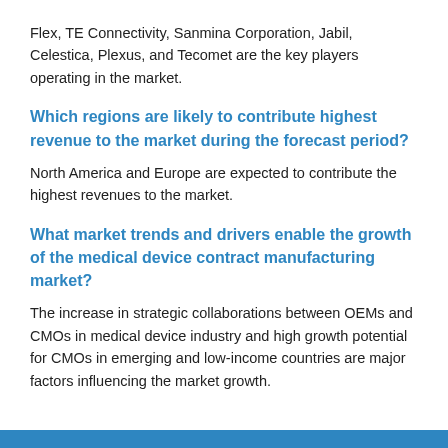Flex, TE Connectivity, Sanmina Corporation, Jabil, Celestica, Plexus, and Tecomet are the key players operating in the market.
Which regions are likely to contribute highest revenue to the market during the forecast period?
North America and Europe are expected to contribute the highest revenues to the market.
What market trends and drivers enable the growth of the medical device contract manufacturing market?
The increase in strategic collaborations between OEMs and CMOs in medical device industry and high growth potential for CMOs in emerging and low-income countries are major factors influencing the market growth.